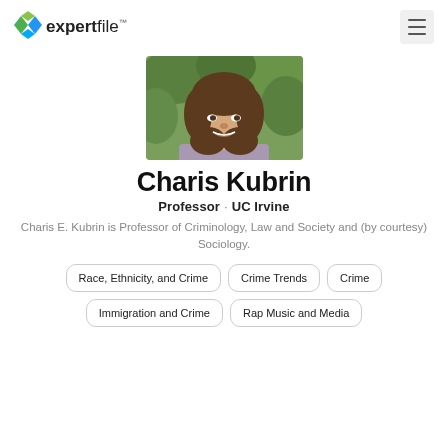expertfile™
[Figure (photo): Professional headshot of Charis Kubrin, a woman with shoulder-length brown wavy hair, smiling, wearing a patterned blouse, outdoors with green foliage background]
Charis Kubrin
Professor · UC Irvine
Charis E. Kubrin is Professor of Criminology, Law and Society and (by courtesy) Sociology.
Race, Ethnicity, and Crime
Crime Trends
Crime
Immigration and Crime
Rap Music and Media